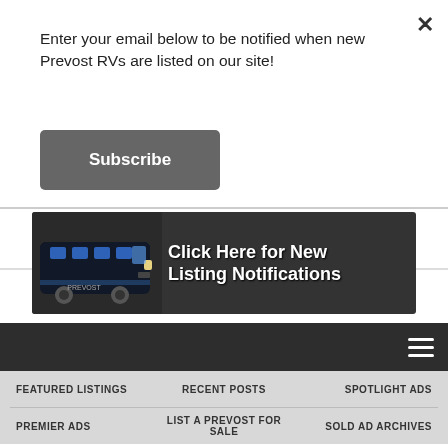Enter your email below to be notified when new Prevost RVs are listed on our site!
Subscribe
[Figure (illustration): Dark banner advertisement with a black Prevost bus on the left and text 'Click Here for New Listing Notifications' on the right, white bold text on dark background.]
☰
FEATURED LISTINGS   RECENT POSTS   SPOTLIGHT ADS
PREMIER ADS   LIST A PREVOST FOR SALE   SOLD AD ARCHIVES
SEARCH ...
HOME > UNITED STATES > Texas